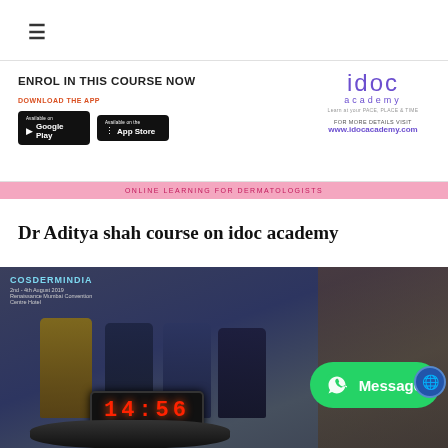≡
ENROL IN THIS COURSE NOW
DOWNLOAD THE APP
[Figure (logo): idoc academy logo with text: Learn at your PACE, PLACE & TIME. FOR MORE DETAILS VISIT www.idocacademy.com]
ONLINE LEARNING FOR DERMATOLOGISTS
Dr Aditya shah course on idoc academy
[Figure (photo): Panel discussion at COSDERMINDIA conference, 2nd-4th August 2019, Renaissance Mumbai Convention Centre Hotel. Four panelists seated, one speaking into microphone. LED clock showing 14:56. WhatsApp Message button overlay.]